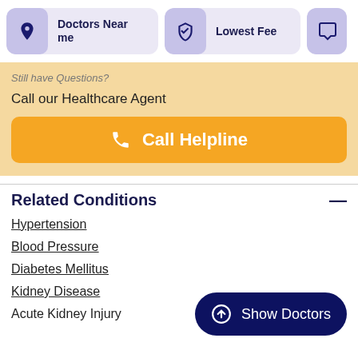[Figure (screenshot): Top navigation bar with three cards: Doctors Near me (location pin icon), Lowest Fee (shield icon), and a third partially visible card (chat icon)]
Still have Questions?
Call our Healthcare Agent
Call Helpline
Related Conditions
Hypertension
Blood Pressure
Diabetes Mellitus
Kidney Disease
Acute Kidney Injury